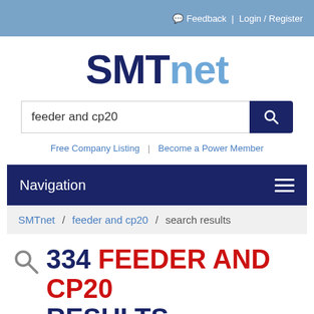Feedback | Login / Register
SMTnet
feeder and cp20 [search input]
Free Company Listing | Become a Power Member
Navigation
SMTnet / feeder and cp20 / search results
334 FEEDER AND CP20 RESULTS